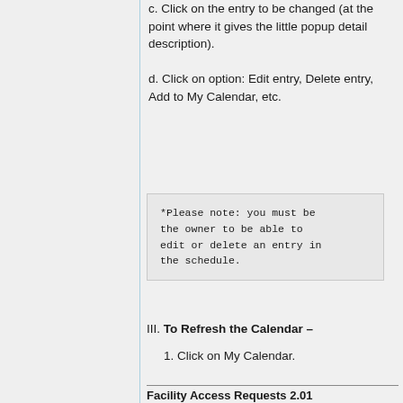c. Click on the entry to be changed (at the point where it gives the little popup detail description).
d. Click on option: Edit entry, Delete entry, Add to My Calendar, etc.
*Please note: you must be the owner to be able to edit or delete an entry in the schedule.
III. To Refresh the Calendar –
1. Click on My Calendar.
Facility Access Requests 2.01